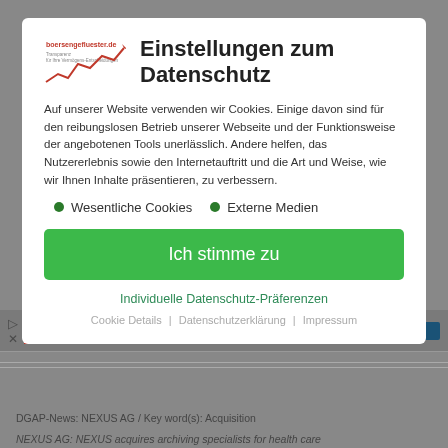[Figure (logo): boersengefluester.de logo with red upward arrow chart graphic]
Einstellungen zum Datenschutz
Auf unserer Website verwenden wir Cookies. Einige davon sind für den reibungslosen Betrieb unserer Webseite und der Funktionsweise der angebotenen Tools unerlässlich. Andere helfen, das Nutzererlebnis sowie den Internetauftritt und die Art und Weise, wie wir Ihnen Inhalte präsentieren, zu verbessern.
Wesentliche Cookies
Externe Medien
Ich stimme zu
Individuelle Datenschutz-Präferenzen
Cookie Details | Datenschutzerklärung | Impressum
DGAP-News: NEXUS AG / Key word(s): Acquisition
NEXUS AG: NEXUS acquires archiving specialists for health care institutions
30.09.2014 / 18:01